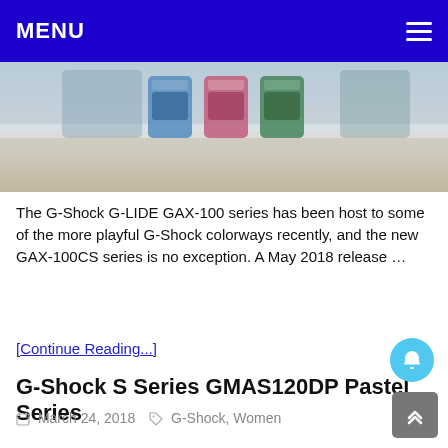MENU
[Figure (photo): Product photo showing G-Shock G-LIDE GAX-100 watches in multiple colorways displayed on a surface]
The G-Shock G-LIDE GAX-100 series has been host to some of the more playful G-Shock colorways recently, and the new GAX-100CS series is no exception. A May 2018 release …
[Continue Reading...]
G-Shock S Series GMAS120DP Pastel Series
March 24, 2018   G-Shock, Women